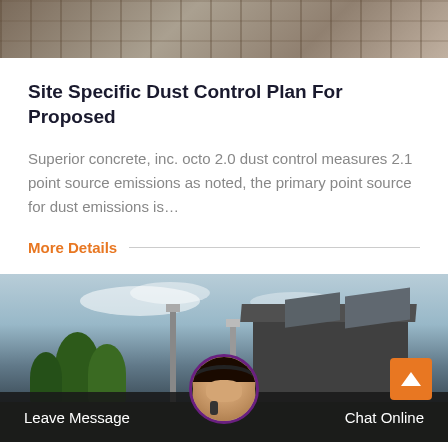[Figure (photo): Industrial facility or machinery photograph at top of page]
Site Specific Dust Control Plan For Proposed
Superior concrete, inc. octo 2.0 dust control measures 2.1 point source emissions as noted, the primary point source for dust emissions is…
More Details
[Figure (photo): Industrial site with structures, towers, and trees against a sky background]
Leave Message   Chat Online